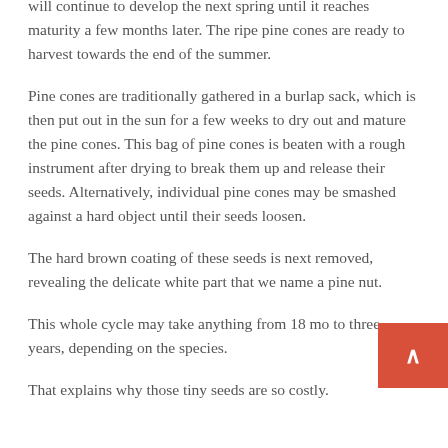will continue to develop the next spring until it reaches maturity a few months later. The ripe pine cones are ready to harvest towards the end of the summer.
Pine cones are traditionally gathered in a burlap sack, which is then put out in the sun for a few weeks to dry out and mature the pine cones. This bag of pine cones is beaten with a rough instrument after drying to break them up and release their seeds. Alternatively, individual pine cones may be smashed against a hard object until their seeds loosen.
The hard brown coating of these seeds is next removed, revealing the delicate white part that we name a pine nut.
This whole cycle may take anything from 18 mo to three years, depending on the species.
That explains why those tiny seeds are so costly.